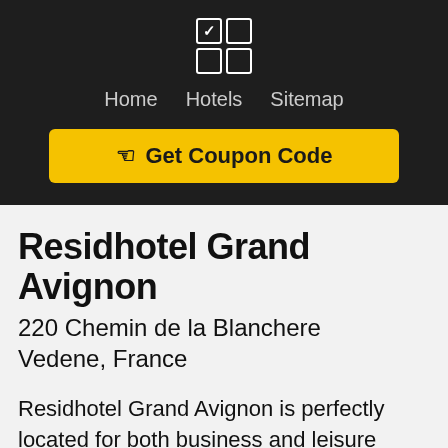Home  Hotels  Sitemap
Get Coupon Code
Residhotel Grand Avignon
220 Chemin de la Blanchere
Vedene, France
Residhotel Grand Avignon is perfectly located for both business and leisure guests in Vedene. Both business travelers and tourists can enjoy the hotel's facilities